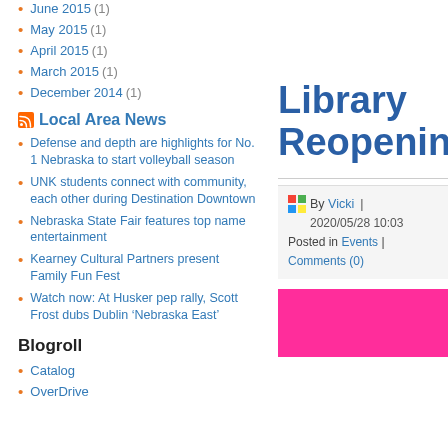June 2015 (1)
May 2015 (1)
April 2015 (1)
March 2015 (1)
December 2014 (1)
Local Area News
Defense and depth are highlights for No. 1 Nebraska to start volleyball season
UNK students connect with community, each other during Destination Downtown
Nebraska State Fair features top name entertainment
Kearney Cultural Partners present Family Fun Fest
Watch now: At Husker pep rally, Scott Frost dubs Dublin ‘Nebraska East’
Blogroll
Catalog
OverDrive
Library Reopening
By Vicki | 2020/05/28 10:03 Posted in Events | Comments (0)
[Figure (other): Pink/magenta image bar]